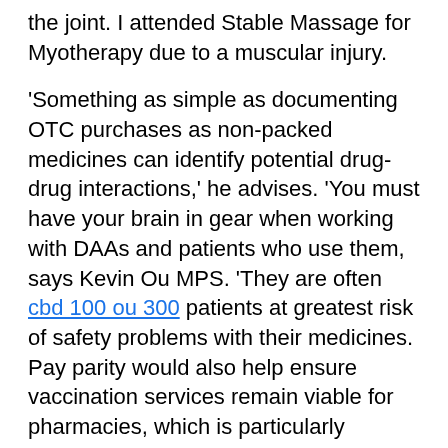the joint. I attended Stable Massage for Myotherapy due to a muscular injury.
'Something as simple as documenting OTC purchases as non-packed medicines can identify potential drug-drug interactions,' he advises. 'You must have your brain in gear when working with DAAs and patients who use them, says Kevin Ou MPS. 'They are often cbd 100 ou 300 patients at greatest risk of safety problems with their medicines. Pay parity would also help ensure vaccination services remain viable for pharmacies, which is particularly important in rural and remote areas where access to a GP may be limited.
Does CBD Oil Ther...